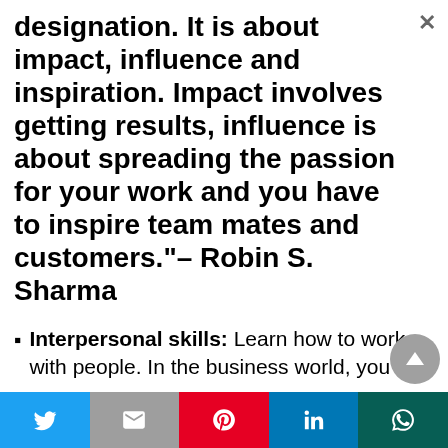designation. It is about impact, influence and inspiration. Impact involves getting results, influence is about spreading the passion for your work and you have to inspire team mates and customers."– Robin S. Sharma
Interpersonal skills: Learn how to work with people. In the business world, you
[Figure (infographic): Social media share bar at the bottom with Twitter, Mail, Pinterest, LinkedIn, and WhatsApp buttons]